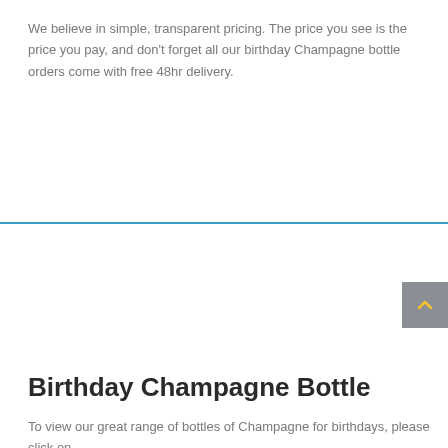We believe in simple, transparent pricing. The price you see is the price you pay, and don't forget all our birthday Champagne bottle orders come with free 48hr delivery.
Birthday Champagne Bottle
To view our great range of bottles of Champagne for birthdays, please click on